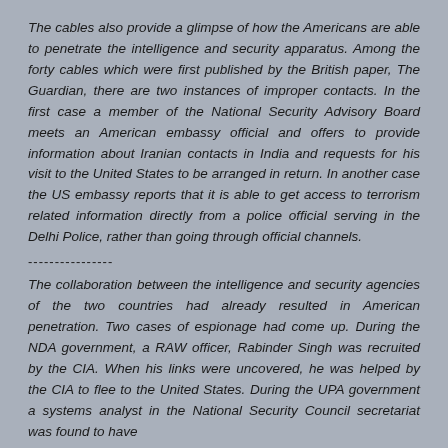The cables also provide a glimpse of how the Americans are able to penetrate the intelligence and security apparatus. Among the forty cables which were first published by the British paper, The Guardian, there are two instances of improper contacts. In the first case a member of the National Security Advisory Board meets an American embassy official and offers to provide information about Iranian contacts in India and requests for his visit to the United States to be arranged in return. In another case the US embassy reports that it is able to get access to terrorism related information directly from a police official serving in the Delhi Police, rather than going through official channels.
----------------
The collaboration between the intelligence and security agencies of the two countries had already resulted in American penetration. Two cases of espionage had come up. During the NDA government, a RAW officer, Rabinder Singh was recruited by the CIA. When his links were uncovered, he was helped by the CIA to flee to the United States. During the UPA government a systems analyst in the National Security Council secretariat was found to have